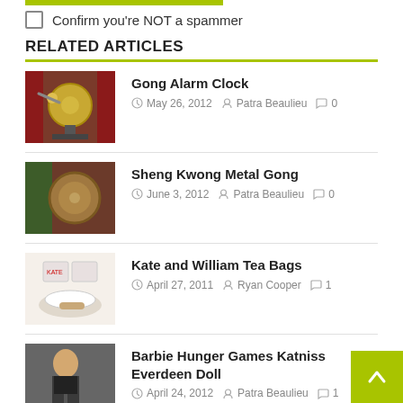Confirm you're NOT a spammer
RELATED ARTICLES
Gong Alarm Clock — May 26, 2012 — Patra Beaulieu — 0 comments
Sheng Kwong Metal Gong — June 3, 2012 — Patra Beaulieu — 0 comments
Kate and William Tea Bags — April 27, 2011 — Ryan Cooper — 1 comment
Barbie Hunger Games Katniss Everdeen Doll — April 24, 2012 — Patra Beaulieu — 1 comment